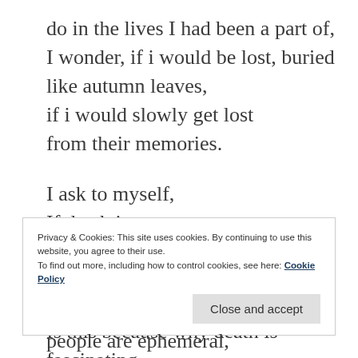do in the lives I had been a part of,
I wonder, if i would be lost, buried like autumn leaves,
if i would slowly get lost from their memories.

I ask to myself,
If death is peace,
If death is silence,
If death is an end.

Is this because why death is fascinating,
Privacy & Cookies: This site uses cookies. By continuing to use this website, you agree to their use.
To find out more, including how to control cookies, see here: Cookie Policy
Close and accept
people are ephemeral,